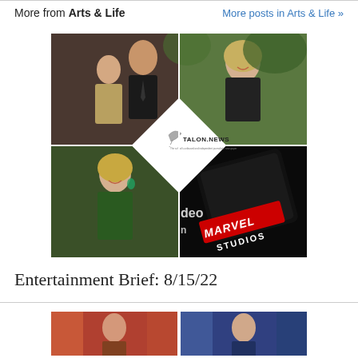More from Arts & Life
More posts in Arts & Life »
[Figure (photo): Collage of four celebrity/entertainment photos arranged in a 2x2 grid with a TALON.NEWS diamond logo in the center. Top left: couple at event. Top right: blonde woman smiling. Bottom left: blonde woman smiling in green. Bottom right: Marvel Studios logo on device screen.]
Entertainment Brief: 8/15/22